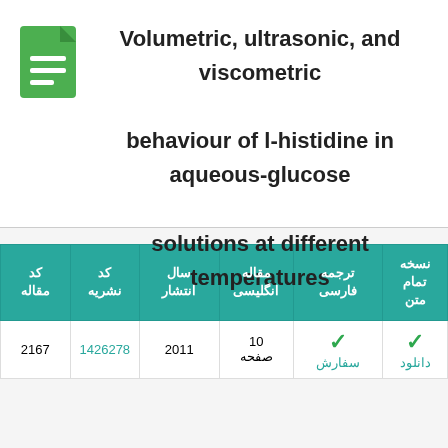Volumetric, ultrasonic, and viscometric behaviour of l-histidine in aqueous-glucose solutions at different temperatures
| کد مقاله | کد نشریه | سال انتشار | مقاله انگلیسی | ترجمه فارسی | نسخه تمام متن |
| --- | --- | --- | --- | --- | --- |
| 2167 | 1426278 | 2011 | 10 صفحه | سفارش ✓ | دانلود ✓ |